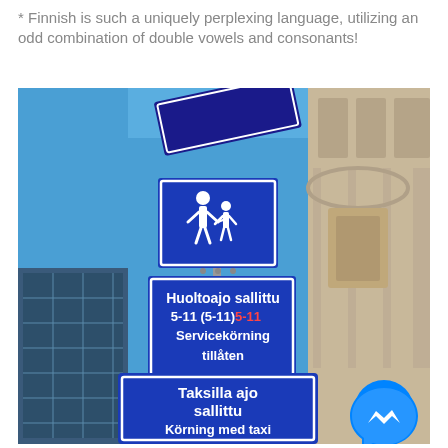* Finnish is such a uniquely perplexing language, utilizing an odd combination of double vowels and consonants!
[Figure (photo): Photograph taken looking up at Finnish/Swedish bilingual street signs in Helsinki. Three blue signs stacked on a pole: top sign shows pedestrian and child pictogram; middle sign reads 'Huoltoajo sallittu 5-11 (5-11) 5-11 Servicekörning tillåten'; bottom sign reads 'Taksilla ajo sallittu Körning med taxi tillåten'. Blue sky and building facades visible in background. A Facebook Messenger icon is visible in the bottom right corner.]